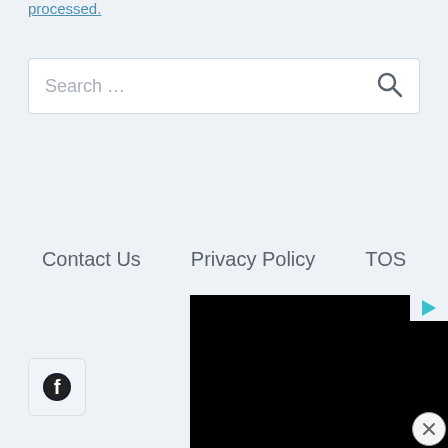processed.
Search ...
Contact Us   Privacy Policy   TOS
[Figure (screenshot): Black video player block with play button icon in top right corner]
[Figure (logo): Facebook icon in a light grey rounded square button]
[Figure (other): Close/dismiss button (X) in bottom right corner]